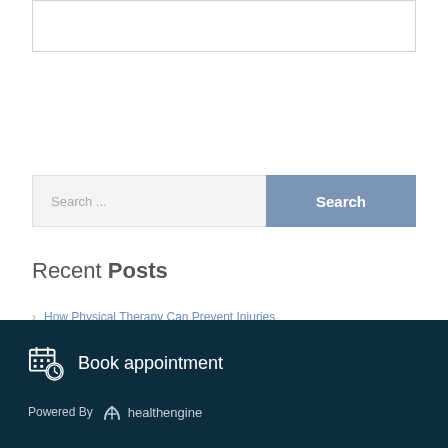[Figure (other): White box with border at top of page]
[Figure (other): Search bar with input field placeholder 'Search...' and blue 'Search' button]
Recent Posts
How Physical Therapy Can Prevent Injuries
Customized Physical Therapy Can Ease Lower Back Pain
Identifying And Treating Pain From Nerve Tension
Book appointment
Powered By healthengine